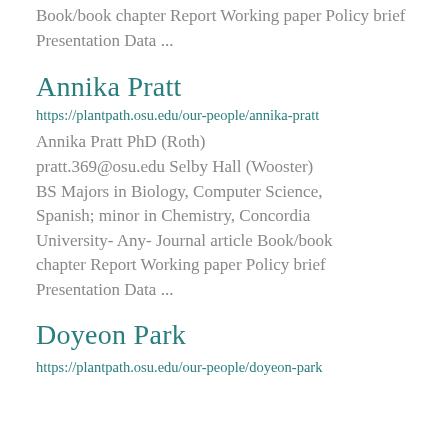Book/book chapter Report Working paper Policy brief Presentation Data ...
Annika Pratt
https://plantpath.osu.edu/our-people/annika-pratt
Annika Pratt PhD (Roth) pratt.369@osu.edu Selby Hall (Wooster) BS Majors in Biology, Computer Science, Spanish; minor in Chemistry, Concordia University- Any- Journal article Book/book chapter Report Working paper Policy brief Presentation Data ...
Doyeon Park
https://plantpath.osu.edu/our-people/doyeon-park